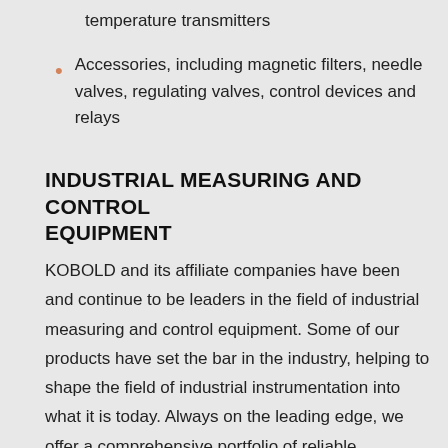temperature transmitters
Accessories, including magnetic filters, needle valves, regulating valves, control devices and relays
INDUSTRIAL MEASURING AND CONTROL EQUIPMENT
KOBOLD and its affiliate companies have been and continue to be leaders in the field of industrial measuring and control equipment. Some of our products have set the bar in the industry, helping to shape the field of industrial instrumentation into what it is today. Always on the leading edge, we offer a comprehensive portfolio of reliable instrumentation that is found in a vast array of applications all over the world. Our technologies offer a solution oriented way to control the most diverse variables.